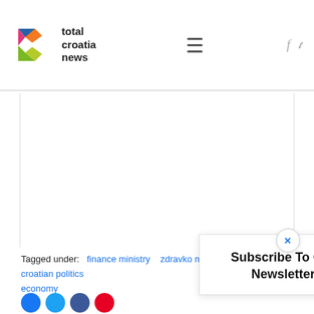Total Croatia News - navigation header with logo, hamburger menu, and social icons (f, twitter)
[Figure (screenshot): Empty white content area representing a webpage article body]
Tagged under:  finance ministry   zdravko maric  croatian politics  economy
[Figure (other): Social share buttons row: Facebook (blue circle), Twitter (light blue circle), another circle, Pinterest/red circle]
Subscribe To Our Newsletter
[Figure (other): Close button X in a circle]